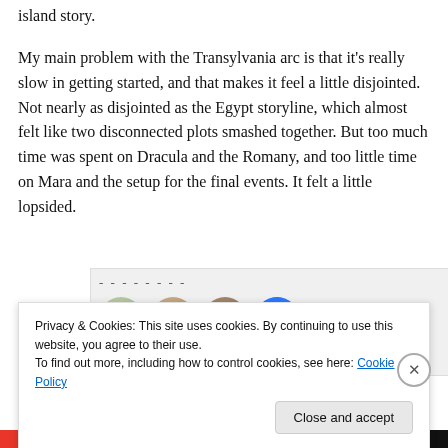island story.
My main problem with the Transylvania arc is that it's really slow in getting started, and that makes it feel a little disjointed. Not nearly as disjointed as the Egypt storyline, which almost felt like two disconnected plots smashed together. But too much time was spent on Dracula and the Romany, and too little time on Mara and the setup for the final events. It felt a little lopsided.
[Figure (photo): A row of circular avatar/profile photos partially visible, with dashed text above them, on a light gray background. A blue circle with a play/info icon is visible as the fourth avatar.]
Privacy & Cookies: This site uses cookies. By continuing to use this website, you agree to their use.
To find out more, including how to control cookies, see here: Cookie Policy
Close and accept